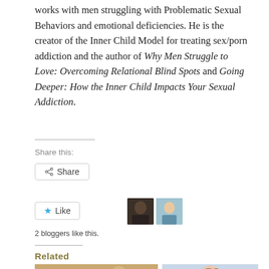works with men struggling with Problematic Sexual Behaviors and emotional deficiencies. He is the creator of the Inner Child Model for treating sex/porn addiction and the author of Why Men Struggle to Love: Overcoming Relational Blind Spots and Going Deeper: How the Inner Child Impacts Your Sexual Addiction.
Share this:
Share
Like
2 bloggers like this.
Related
[Figure (photo): Sepia-toned photo of a woman and man couple]
[Figure (photo): Photo of a man with hand on head, wearing blue shirt]